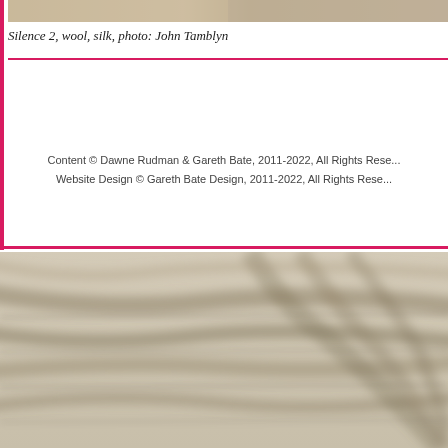[Figure (photo): Top portion of a textile artwork photo, cropped at the top of the page]
Silence 2, wool, silk, photo: John Tamblyn
[Figure (photo): Blurred close-up photograph of a woven textile piece showing soft beige/tan tones with subtle linear textures, filling the bottom half of the page]